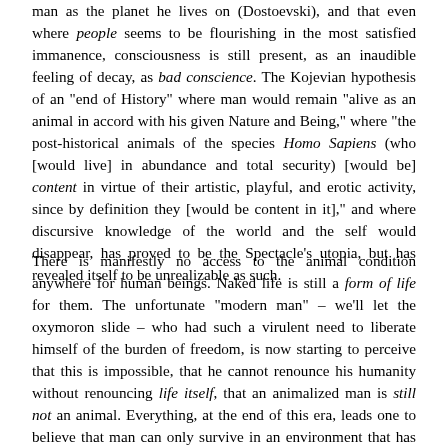man as the planet he lives on (Dostoevski), and that even where people seems to be flourishing in the most satisfied immanence, consciousness is still present, as an inaudible feeling of decay, as bad conscience. The Kojevian hypothesis of an "end of History" where man would remain "alive as an animal in accord with his given Nature and Being," where "the post-historical animals of the species Homo Sapiens (who [would live] in abundance and total security) [would be] content in virtue of their artistic, playful, and erotic activity, since by definition they [would be content in it]," and where discursive knowledge of the world and the self would disappear, has proved to be the Spectacle's utopia, but has revealed itself to be unrealizable as such.
There is manifestly no access to the animal condition anywhere for human beings. Naked life is still a form of life for them. The unfortunate "modern man" – we'll let the oxymoron slide – who had such a virulent need to liberate himself of the burden of freedom, is now starting to perceive that this is impossible, that he cannot renounce his humanity without renouncing life itself, that an animalized man is still not an animal. Everything, at the end of this era, leads one to believe that man can only survive in an environment that has meaning to it. Nothing shows the extent to which the possibilities that mankind contains themselves tend towards mankind's realization as does the effort sur